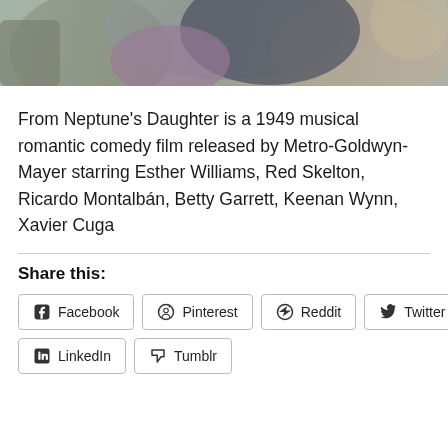[Figure (photo): Partial photograph showing two people, cropped at top — one in a grey/purple knit outfit, another in dark jacket, seated area with grey chair visible in background.]
From Neptune's Daughter is a 1949 musical romantic comedy film released by Metro-Goldwyn-Mayer starring Esther Williams, Red Skelton, Ricardo Montalbán, Betty Garrett, Keenan Wynn, Xavier Cuga
Share this:
Facebook
Pinterest
Reddit
Twitter
LinkedIn
Tumblr